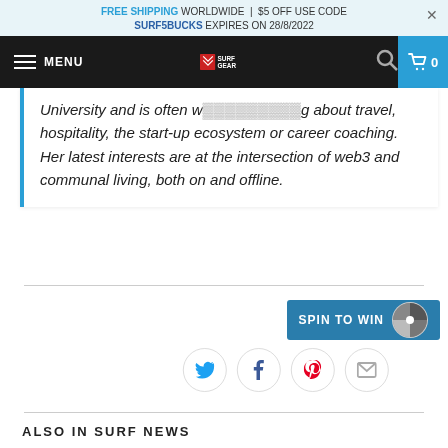FREE SHIPPING WORLDWIDE | $5 OFF USE CODE SURF5BUCKS EXPIRES ON 28/8/2022
[Figure (logo): Surf Gear logo with menu, search and cart navigation bar]
University and is often w...g about travel, hospitality, the start-up ecosystem or career coaching. Her latest interests are at the intersection of web3 and communal living, both on and offline.
[Figure (infographic): SPIN TO WIN button with spinning wheel graphic, and social share icons for Twitter, Facebook, Pinterest, and Email]
ALSO IN SURF NEWS